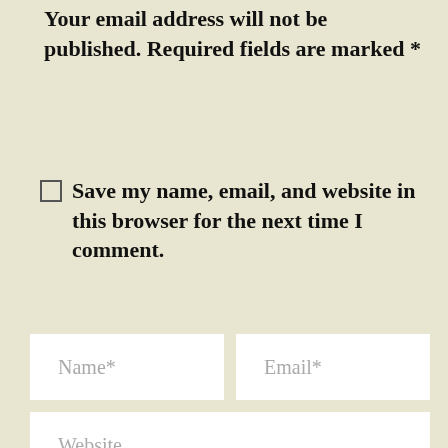Your email address will not be published. Required fields are marked *
Save my name, email, and website in this browser for the next time I comment.
Name*
Email*
Website
Comment